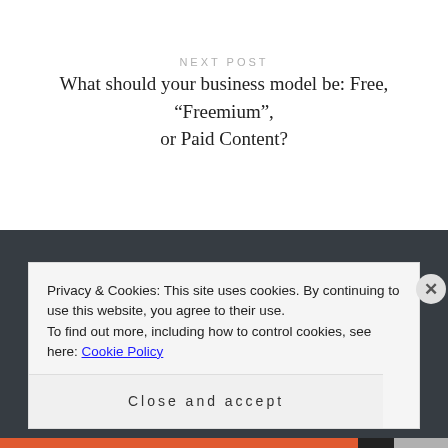NEXT POST
What should your business model be: Free, “Freemium”, or Paid Content?
Privacy & Cookies: This site uses cookies. By continuing to use this website, you agree to their use.
To find out more, including how to control cookies, see here: Cookie Policy
Close and accept